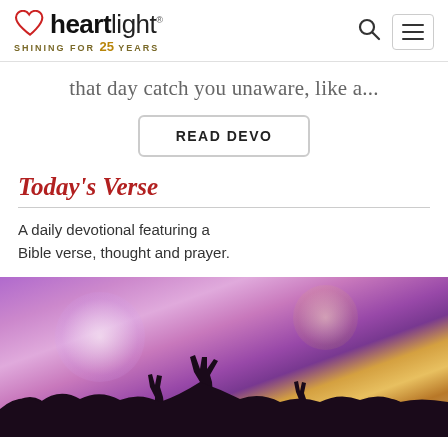heartlight® SHINING FOR 25 YEARS
that day catch you unaware, like a...
READ DEVO
Today's Verse
A daily devotional featuring a Bible verse, thought and prayer.
[Figure (photo): Crowd of people with raised hands at a concert or worship event, silhouetted against purple and golden stage lights]